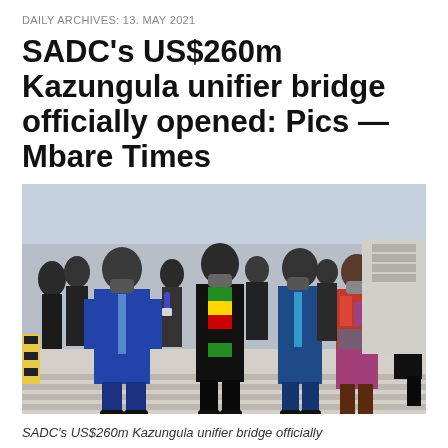DAILY ARCHIVES: 13. MAY 2021
SADC's US$260m Kazungula unifier bridge officially opened: Pics — Mbare Times
[Figure (photo): Group of dignitaries in suits and face masks walking across the Kazungula Bridge on its opening day. Several men in the foreground wear dark suits; one wears a Zimbabwe-flag-patterned scarf. A woman in a colorful patterned dress is also visible. Security personnel and officials line the background.]
SADC's US$260m Kazungula unifier bridge officially